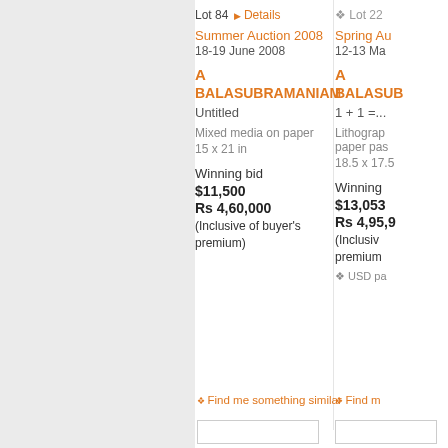Lot 84   ▶ Details   ❖ Lot 22
Summer Auction 2008
18-19 June 2008
A
BALASUBRAMANIAM
Untitled
Mixed media on paper
15 x 21 in
Winning bid $11,500 Rs 4,60,000 (Inclusive of buyer's premium)
Spring Au
12-13 Ma
A
BALASUB
1 + 1 =...
Lithograp paper pas
18.5 x 17.5
Winning bid $13,053 Rs 4,95,9 (Inclusive of buyer's premium)
❖ USD pa
❖ Find me something similar
❖ Find m